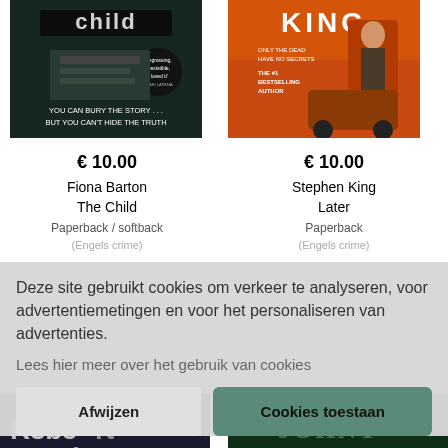[Figure (photo): Book cover of 'The Child' by Fiona Barton — dark cover with text 'YOU CAN BURY THE STORY... BUT YOU CAN'T HIDE THE TRUTH']
€ 10.00
Fiona Barton
The Child
Paperback / softback
(Engels crime)
[Figure (photo): Book cover of 'Later' by Stephen King — orange cover with dramatic figures and text 'ONLY THE DEAD HAVE NO SECRETS', 'THE #1 BESTSELLING AUTHOR']
€ 10.00
Stephen King
Later
Paperback
(Engels crime)
Deze site gebruikt cookies om verkeer te analyseren, voor advertentiemetingen en voor het personaliseren van advertenties.
Lees hier meer over het gebruik van cookies
Afwijzen
Cookies toestaan
[Figure (photo): Partial book cover — Robert Harris book, bottom of page]
[Figure (photo): Partial book cover — John (green/dark), bottom of page]